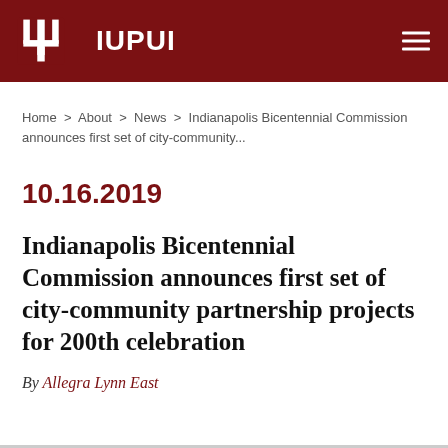IUPUI
Home > About > News > Indianapolis Bicentennial Commission announces first set of city-community...
10.16.2019
Indianapolis Bicentennial Commission announces first set of city-community partnership projects for 200th celebration
By Allegra Lynn East